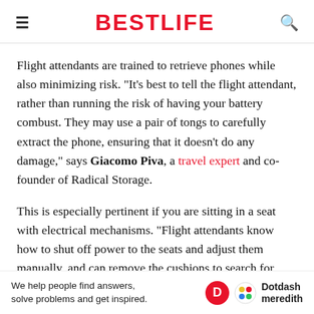BESTLIFE
Flight attendants are trained to retrieve phones while also minimizing risk. "It's best to tell the flight attendant, rather than running the risk of having your battery combust. They may use a pair of tongs to carefully extract the phone, ensuring that it doesn't do any damage," says Giacomo Piva, a travel expert and co-founder of Radical Storage.
This is especially pertinent if you are sitting in a seat with electrical mechanisms. "Flight attendants know how to shut off power to the seats and adjust them manually, and can remove the cushions to search for your p...
We help people find answers, solve problems and get inspired. Dotdash meredith